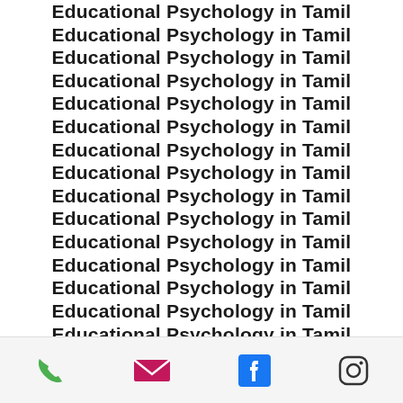Educational Psychology in Tamil
Educational Psychology in Tamil
Educational Psychology in Tamil
Educational Psychology in Tamil
Educational Psychology in Tamil
Educational Psychology in Tamil
Educational Psychology in Tamil
Educational Psychology in Tamil
Educational Psychology in Tamil
Educational Psychology in Tamil
Educational Psychology in Tamil
Educational Psychology in Tamil
Educational Psychology in Tamil
Educational Psychology in Tamil
Educational Psychology in Tamil
Educational Psychology in Tamil
Educational Psychology in Tamil
Educational Psychology in Tamil
Educational Psychology in Tamil
Educational Psychology in Tamil
Phone | Email | Facebook | Instagram